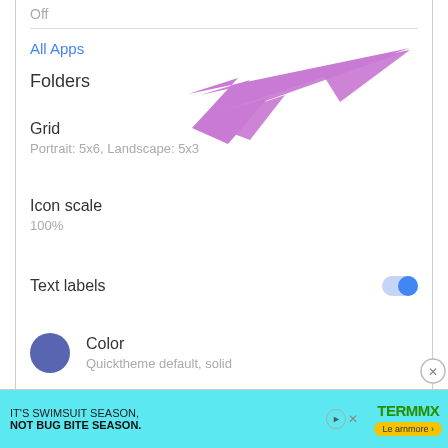Off
All Apps
Folders
[Figure (illustration): Pink/purple arrow pointing left toward 'Folders' menu item]
Grid
Portrait: 5x6, Landscape: 5x3
Icon scale
100%
Text labels
[Figure (illustration): Toggle switch turned on (blue) for Text labels]
Color
Quicktheme default, solid
[Figure (illustration): Blue/indigo circle color swatch]
Show predictive apps
[Figure (illustration): Toggle switch turned on (blue) for Show predictive apps]
Advanced
[Figure (screenshot): Ad banner: IT'S SWIMSUIT SEASON, NOT BUG BITE SEASON. with Termmax logo and Learn more button]